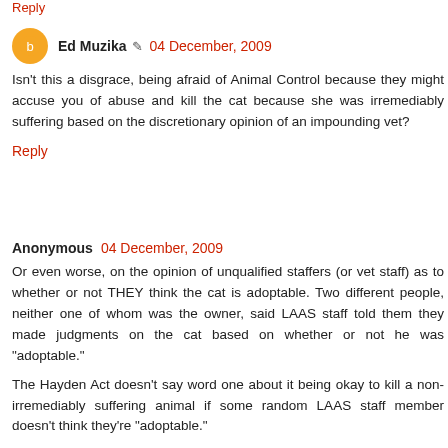Reply
Ed Muzika  04 December, 2009
Isn't this a disgrace, being afraid of Animal Control because they might accuse you of abuse and kill the cat because she was irremediably suffering based on the discretionary opinion of an impounding vet?
Reply
Anonymous  04 December, 2009
Or even worse, on the opinion of unqualified staffers (or vet staff) as to whether or not THEY think the cat is adoptable. Two different people, neither one of whom was the owner, said LAAS staff told them they made judgments on the cat based on whether or not he was "adoptable."
The Hayden Act doesn't say word one about it being okay to kill a non-irremediably suffering animal if some random LAAS staff member doesn't think they're "adoptable."